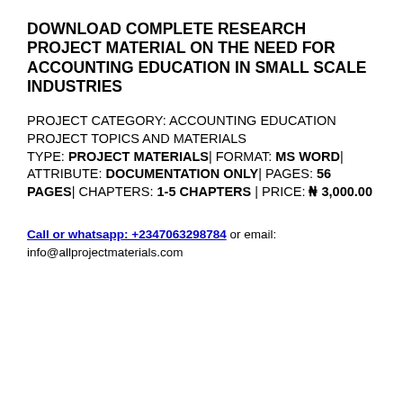DOWNLOAD COMPLETE RESEARCH PROJECT MATERIAL ON THE NEED FOR ACCOUNTING EDUCATION IN SMALL SCALE INDUSTRIES
PROJECT CATEGORY: ACCOUNTING EDUCATION PROJECT TOPICS AND MATERIALS
TYPE: PROJECT MATERIALS| FORMAT: MS WORD| ATTRIBUTE: DOCUMENTATION ONLY| PAGES: 56 PAGES| CHAPTERS: 1-5 CHAPTERS | PRICE: ₦ 3,000.00
Call or whatsapp: +2347063298784 or email: info@allprojectmaterials.com